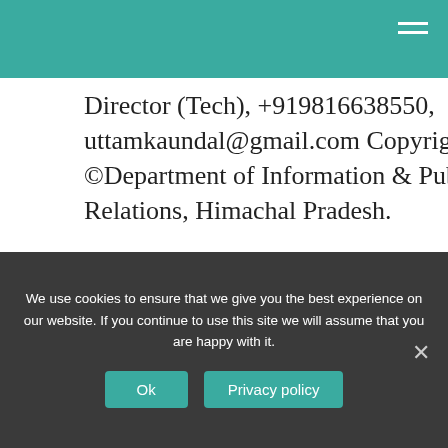Director (Tech), +919816638550, uttamkaundal@gmail.com Copyright ©Department of Information & Public Relations, Himachal Pradesh.
[Figure (screenshot): YouTube video thumbnail showing 'Informaton about State Inform...' with a circular logo on the left, three-dot menu on the right, and Hindi text below with a person visible]
We use cookies to ensure that we give you the best experience on our website. If you continue to use this site we will assume that you are happy with it.